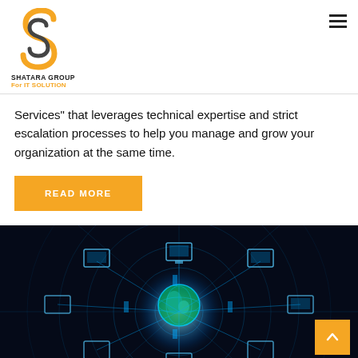SHATARA GROUP For IT SOLUTION
Services" that leverages technical expertise and strict escalation processes to help you manage and grow your organization at the same time.
READ MORE
[Figure (illustration): A dark-background technology network illustration showing a glowing blue globe in the center surrounded by various computing devices (monitors, servers, tablets) arranged in a circular pattern with glowing blue circuit lines radiating outward. A yellow scroll-to-top button with an upward arrow is overlaid in the bottom-right corner.]